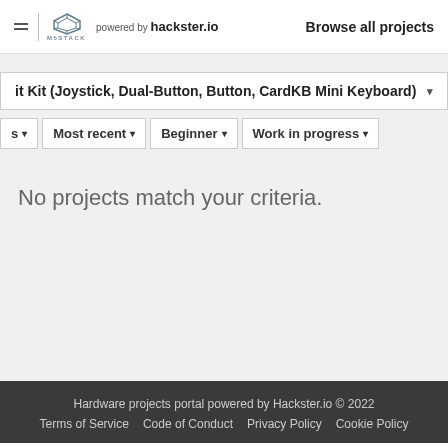powered by hackster.io  Browse all projects  M5STACK
it Kit (Joystick, Dual-Button, Button, CardKB Mini Keyboard)
s  Most recent  Beginner  Work in progress
No projects match your criteria.
Hardware projects portal powered by Hackster.io © 2022  Terms of Service  Code of Conduct  Privacy Policy  Cookie Policy